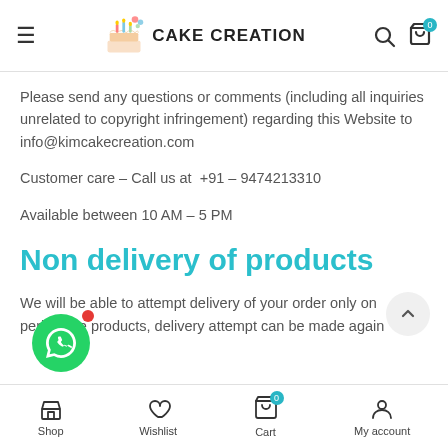CAKE CREATION
Please send any questions or comments (including all inquiries unrelated to copyright infringement) regarding this Website to info@kimcakecreation.com
Customer care – Call us at  +91 – 9474213310
Available between 10 AM – 5 PM
Non delivery of products
We will be able to attempt delivery of your order only on perishable products, delivery attempt can be made again
Shop  Wishlist  Cart  My account